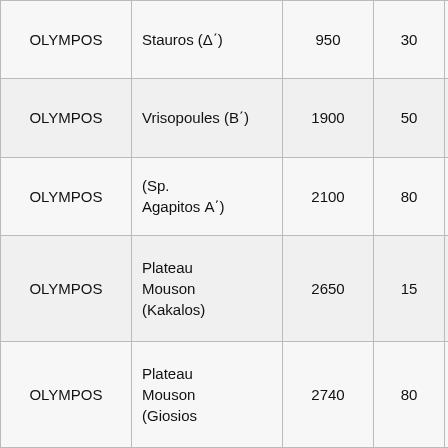| OLYMPOS | Stauros (Δ΄) | 950 | 30 | Ε.Ο.Σ. Ο
νίκης |
| OLYMPOS | Vrisopoules (Β΄) | 1900 | 50 | ΚΕΟΑΧ
Ολύμπο |
| OLYMPOS | (Sp. Agapitos Α΄) | 2100 | 80 | Ε.Ο.Σ.
Λιτοχώρ |
| OLYMPOS | Plateau Mouson (Kakalos) | 2650 | 15 | Ε.Ο.Σ.
Κατερίν |
| OLYMPOS | Plateau Mouson (Giosios | 2740 | 80 | Σ.Ε.Ο. (
νίκης) |